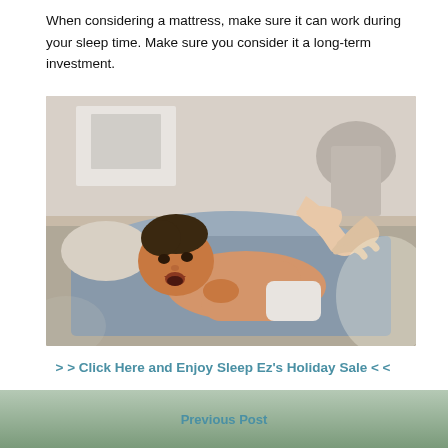When considering a mattress, make sure it can work during your sleep time. Make sure you consider it a long-term investment.
[Figure (photo): A baby lying on its back on a bed with light blue sheets, with an adult's hands touching/massaging the baby's torso.]
> > Click Here and Enjoy Sleep Ez's Holiday Sale < <
Previous Post